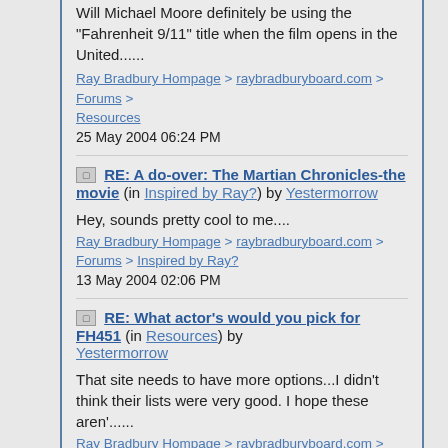Will Michael Moore definitely be using the "Fahrenheit 9/11" title when the film opens in the United......
Ray Bradbury Hompage > raybradburyboard.com > Forums > Resources
25 May 2004 06:24 PM
RE: A do-over: The Martian Chronicles-the movie (in Inspired by Ray?) by Yestermorrow
Hey, sounds pretty cool to me....
Ray Bradbury Hompage > raybradburyboard.com > Forums > Inspired by Ray?
13 May 2004 02:06 PM
RE: What actor's would you pick for FH451 (in Resources) by Yestermorrow
That site needs to have more options...I didn't think their lists were very good. I hope these aren'......
Ray Bradbury Hompage > raybradburyboard.com > Forums > Resources
23 April 2004 07:36 PM
RE: Have Ray's views changed? (in Resources) by Yestermorrow